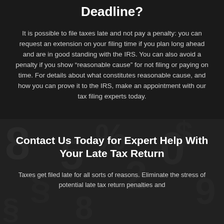Deadline?
It is possible to file taxes late and not pay a penalty: you can request an extension on your filing time if you plan long ahead and are in good standing with the IRS. You can also avoid a penalty if you show “reasonable cause” for not filing or paying on time. For details about what constitutes reasonable cause, and how you can prove it to the IRS, make an appointment with our tax filing experts today.
[Figure (photo): Dark background image of scattered metallic numbers and symbols, used as backdrop for the contact section.]
Contact Us Today for Expert Help With Your Late Tax Return
Taxes get filed late for all sorts of reasons. Eliminate the stress of potential late tax return penalties and